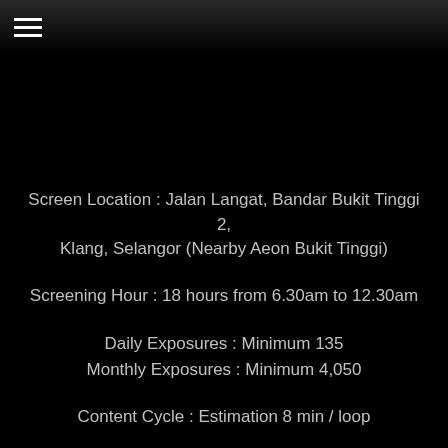[Figure (photo): Dark header bar with hamburger menu icon at top left, dark background photo visible in background]
Screen Location : Jalan Langat, Bandar Bukit Tinggi 2, Klang, Selangor (Nearby Aeon Bukit Tinggi)
Screening Hour : 18 hours from 6.30am to 12.30am
Daily Exposures : Minimum 135
Monthly Exposures : Minimum 4,050
Content Cycle : Estimation 8 min / loop